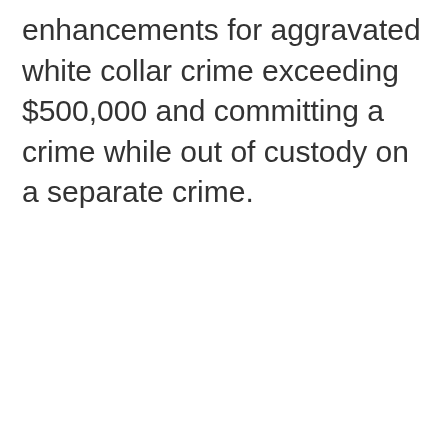enhancements for aggravated white collar crime exceeding $500,000 and committing a crime while out of custody on a separate crime.